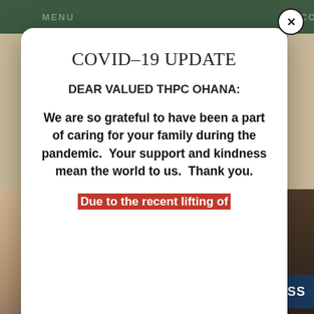MENU   CONTACT
COVID-19 UPDATE
DEAR VALUED THPC OHANA:
We are so grateful to have been a part of caring for your family during the pandemic.  Your support and kindness mean the world to us.  Thank you.
Due to the recent lifting of
[Figure (photo): Photo of a light-colored fluffy cat and a shelf with pet food products in the background]
ACCESS